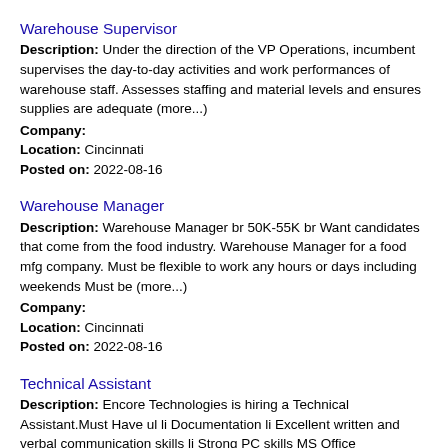Warehouse Supervisor
Description: Under the direction of the VP Operations, incumbent supervises the day-to-day activities and work performances of warehouse staff. Assesses staffing and material levels and ensures supplies are adequate (more...)
Company:
Location: Cincinnati
Posted on: 2022-08-16
Warehouse Manager
Description: Warehouse Manager br 50K-55K br Want candidates that come from the food industry. Warehouse Manager for a food mfg company. Must be flexible to work any hours or days including weekends Must be (more...)
Company:
Location: Cincinnati
Posted on: 2022-08-16
Technical Assistant
Description: Encore Technologies is hiring a Technical Assistant.Must Have ul li Documentation li Excellent written and verbal communication skills li Strong PC skills MS Office requiredNice To Have ul (more...)
Company: Encore Technologies
Location: Cincinnati
Posted on: 2022-08-16